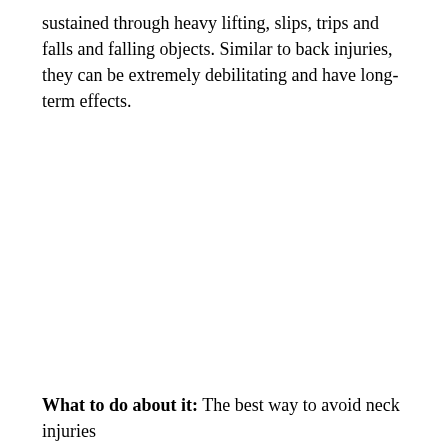sustained through heavy lifting, slips, trips and falls and falling objects. Similar to back injuries, they can be extremely debilitating and have long-term effects.
What to do about it: The best way to avoid neck injuries